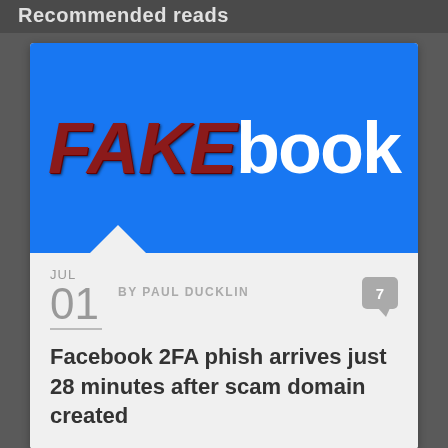Recommended reads
[Figure (illustration): FAKEbook logo on blue background - the word FAKE in dark red/maroon with textured effect, followed by 'book' in white, mimicking the Facebook logo style]
JUL
01
BY PAUL DUCKLIN
7
Facebook 2FA phish arrives just 28 minutes after scam domain created